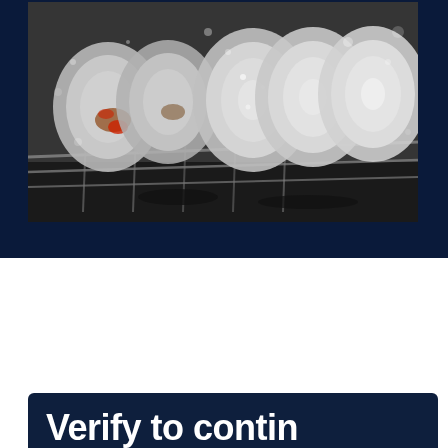[Figure (photo): Close-up photo of dirty dishes with food residue loaded in a dishwasher rack, with water spray visible, dark steel rack, grey/white plates with rust and tomato sauce stains]
FRED'S APPLIANCE ACADEMY
JULY 6, 2021
DISHWASHER TRAINING
Verify to contin